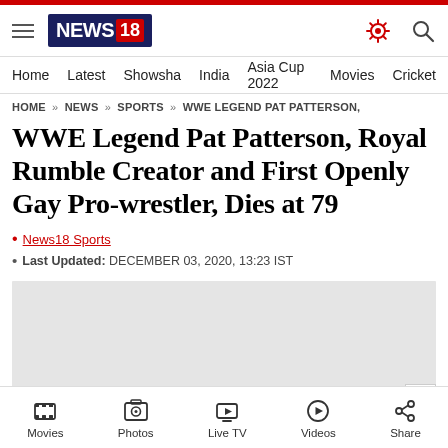NEWS18
Home   Latest   Showsha   India   Asia Cup 2022   Movies   Cricket
HOME » NEWS » SPORTS » WWE LEGEND PAT PATTERSON,
WWE Legend Pat Patterson, Royal Rumble Creator and First Openly Gay Pro-wrestler, Dies at 79
News18 Sports
Last Updated: DECEMBER 03, 2020, 13:23 IST
[Figure (other): Advertisement placeholder (grey box) with X close button]
Movies   Photos   Live TV   Videos   Share